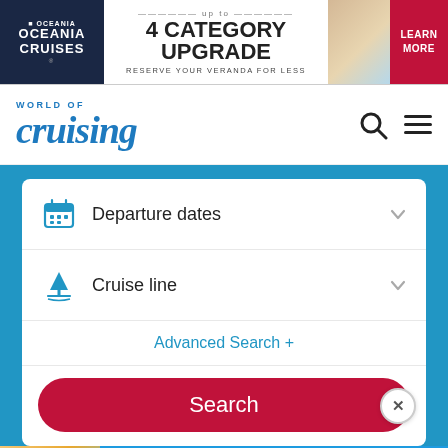[Figure (other): Oceania Cruises banner advertisement: 'up to 4 CATEGORY UPGRADE – RESERVE YOUR VERANDA FOR LESS' with LEARN MORE button on right]
[Figure (logo): World of Cruising logo in blue, with search and hamburger menu icons]
Departure dates
Cruise line
Advanced Search +
Search
Unmissable cruise offers